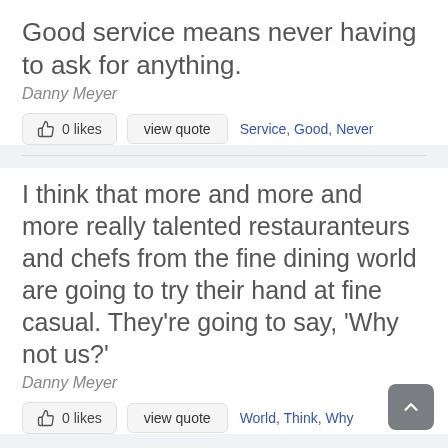Good service means never having to ask for anything.
Danny Meyer
0 likes   view quote   Service, Good, Never
I think that more and more and more really talented restauranteurs and chefs from the fine dining world are going to try their hand at fine casual. They're going to say, 'Why not us?'
Danny Meyer
0 likes   view quote   World, Think, Why